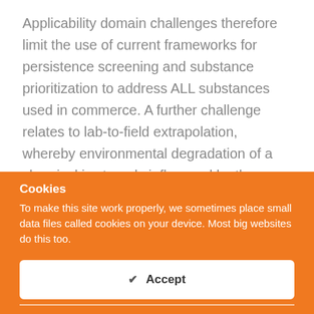Applicability domain challenges therefore limit the use of current frameworks for persistence screening and substance prioritization to address ALL substances used in commerce. A further challenge relates to lab-to-field extrapolation, whereby environmental degradation of a chemical is strongly influenced by the properties of the environmental system into which it is emitted. In addition, extrapolation of half-lives between compartments (e.g., water to soil), and interactions between compartments
Cookies
To make this site work properly, we sometimes place small data files called cookies on your device. Most big websites do this too.
✔ Accept